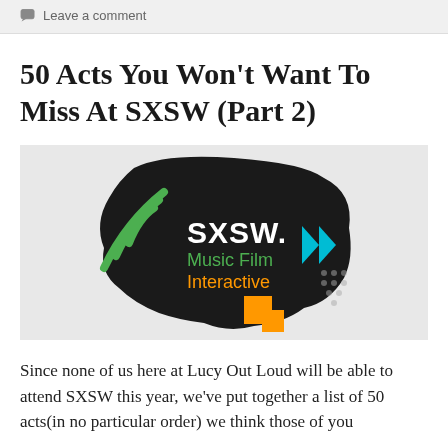Leave a comment
50 Acts You Won't Want To Miss At SXSW (Part 2)
[Figure (logo): SXSW Music Film Interactive logo on a dark irregular background with green wifi-style arcs on the left, blue double-arrow chevrons on the right, and orange squares at the bottom, on a light gray background]
Since none of us here at Lucy Out Loud will be able to attend SXSW this year, we've put together a list of 50 acts(in no particular order) we think those of you